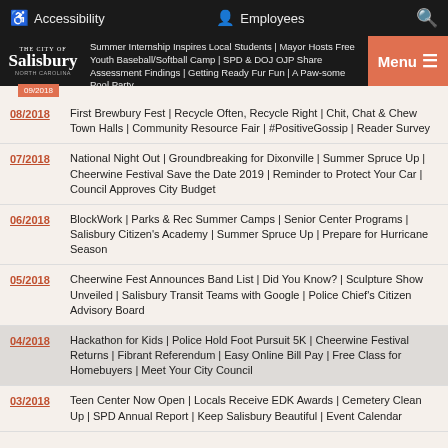Accessibility | Employees | Search
The City of Salisbury — 09/2018 — Summer Internship Inspires Local Students | Mayor Hosts Free Youth Baseball/Softball Camp | SPD & DOJ OJP Share Assessment Findings | Getting Ready Fur Fun | A Paw-some Pool Party — Menu
08/2018 — First Brewbury Fest | Recycle Often, Recycle Right | Chit, Chat & Chew Town Halls | Community Resource Fair | #PositiveGossip | Reader Survey
07/2018 — National Night Out | Groundbreaking for Dixonville | Summer Spruce Up | Cheerwine Festival Save the Date 2019 | Reminder to Protect Your Car | Council Approves City Budget
06/2018 — BlockWork | Parks & Rec Summer Camps | Senior Center Programs | Salisbury Citizen's Academy | Summer Spruce Up | Prepare for Hurricane Season
05/2018 — Cheerwine Fest Announces Band List | Did You Know? | Sculpture Show Unveiled | Salisbury Transit Teams with Google | Police Chief's Citizen Advisory Board
04/2018 — Hackathon for Kids | Police Hold Foot Pursuit 5K | Cheerwine Festival Returns | Fibrant Referendum | Easy Online Bill Pay | Free Class for Homebuyers | Meet Your City Council
03/2018 — Teen Center Now Open | Locals Receive EDK Awards | Cemetery Clean Up | SPD Annual Report | Keep Salisbury Beautiful | Event Calendar